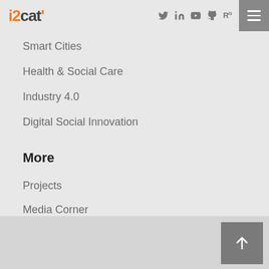i2cat' [logo] with social icons: Twitter, LinkedIn, YouTube, GitHub, ResearchGate, and menu button
Smart Cities
Health & Social Care
Industry 4.0
Digital Social Innovation
More
Projects
Media Corner
Events
Back to top button